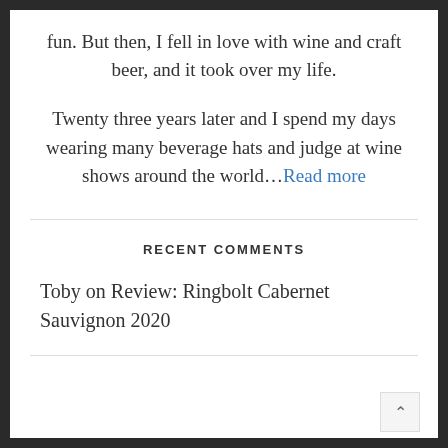fun. But then, I fell in love with wine and craft beer, and it took over my life.
Twenty three years later and I spend my days wearing many beverage hats and judge at wine shows around the world...Read more
RECENT COMMENTS
Toby on Review: Ringbolt Cabernet Sauvignon 2020